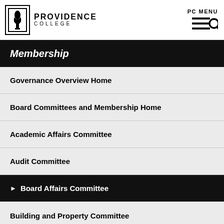PROVIDENCE COLLEGE — PC MENU
Membership
Governance Overview Home
Board Committees and Membership Home
Academic Affairs Committee
Audit Committee
Board Affairs Committee
Building and Property Committee